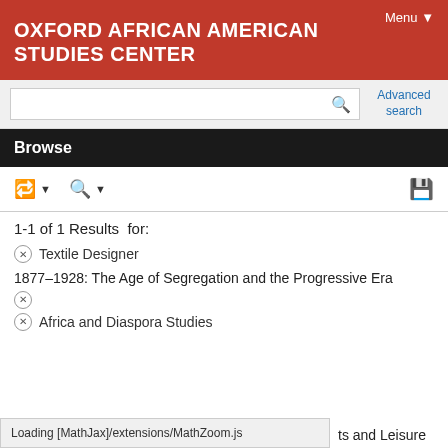Menu ▼
OXFORD AFRICAN AMERICAN STUDIES CENTER
Advanced search
Browse
1-1 of 1 Results  for:
✕ Textile Designer
1877–1928: The Age of Segregation and the Progressive Era ✕
✕ Africa and Diaspora Studies
Loading [MathJax]/extensions/MathZoom.js
ts and Leisure